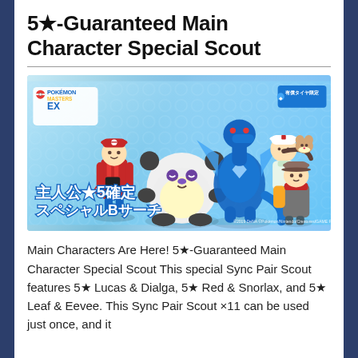5★-Guaranteed Main Character Special Scout
[Figure (illustration): Pokemon Masters EX promotional banner showing Red with Snorlax, Leaf with Eevee, and Lucas with Dialga, with Japanese text reading 主人公★5確定 スペシャルBサーチ]
Main Characters Are Here! 5★-Guaranteed Main Character Special Scout This special Sync Pair Scout features 5★ Lucas & Dialga, 5★ Red & Snorlax, and 5★ Leaf & Eevee. This Sync Pair Scout ×11 can be used just once, and it